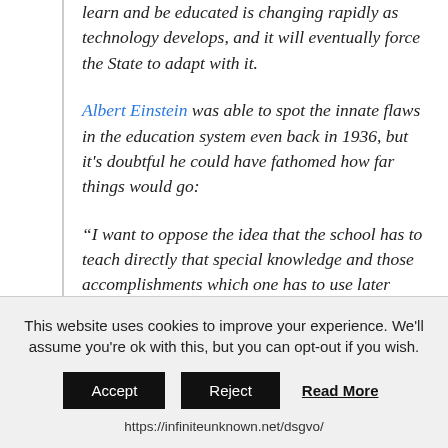learn and be educated is changing rapidly as technology develops, and it will eventually force the State to adapt with it.
Albert Einstein was able to spot the innate flaws in the education system even back in 1936, but it's doubtful he could have fathomed how far things would go:
“I want to oppose the idea that the school has to teach directly that special knowledge and those accomplishments which one has to use later directly in life. The demands of life are much too manifold to let such a specialized training in school appear possible…The development of
This website uses cookies to improve your experience. We'll assume you're ok with this, but you can opt-out if you wish. Accept Reject Read More https://infiniteunknown.net/dsgvo/